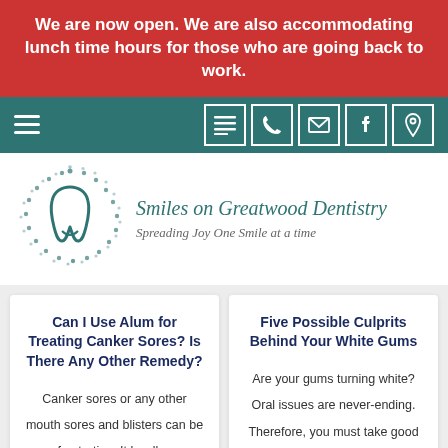We are now open. We are also accommodating lunch time hours for those who are going back to work.
[Figure (screenshot): Teal navigation bar with hamburger menu on left and icon buttons (list, phone, mail, facebook, location) on right]
[Figure (logo): Smiles on Greatwood Dentistry logo: circular dotted pattern with tooth icon in teal]
Smiles on Greatwood Dentistry
Spreading Joy One Smile at a time
Can I Use Alum for Treating Canker Sores? Is There Any Other Remedy?
Canker sores or any other mouth sores and blisters can be frustrating. It hurdles
Five Possible Culprits Behind Your White Gums
Are your gums turning white? Oral issues are never-ending. Therefore, you must take good care of your oral